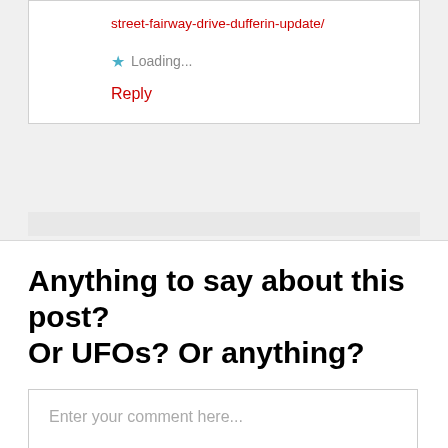street-fairway-drive-dufferin-update/
★ Loading...
Reply
Anything to say about this post? Or UFOs? Or anything?
Enter your comment here...